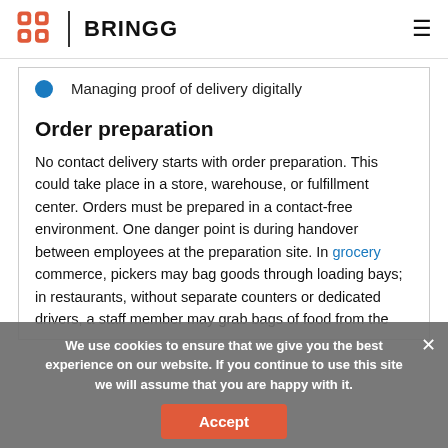BRINGG
Managing proof of delivery digitally
Order preparation
No contact delivery starts with order preparation. This could take place in a store, warehouse, or fulfillment center. Orders must be prepared in a contact-free environment. One danger point is during handover between employees at the preparation site. In grocery commerce, pickers may bag goods through loading bays; in restaurants, without separate counters or dedicated drivers, a staff member may grab bags of food from the
We use cookies to ensure that we give you the best experience on our website. If you continue to use this site we will assume that you are happy with it.